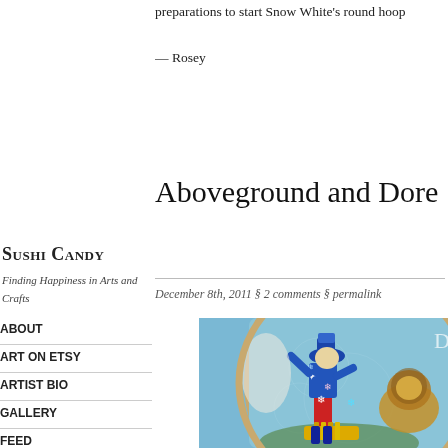preparations to start Snow White's round hoop
— Rosey
Aboveground and Dore
December 8th, 2011 § 2 comments § permalink
[Figure (photo): Embroidered hoop artwork featuring a figure in blue winter clothing with snowflakes, surrounded by colorful felt and bead elements on a light blue background]
Sushi Candy
Finding Happiness in Arts and Crafts
ABOUT
ART ON ETSY
ARTIST BIO
GALLERY
FEED